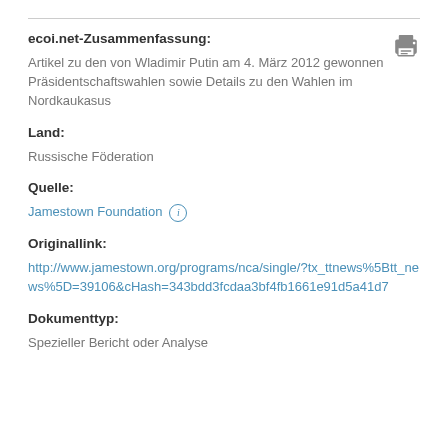ecoi.net-Zusammenfassung:
Artikel zu den von Wladimir Putin am 4. März 2012 gewonnen Präsidentschaftswahlen sowie Details zu den Wahlen im Nordkaukasus
Land:
Russische Föderation
Quelle:
Jamestown Foundation
Originallink:
http://www.jamestown.org/programs/nca/single/?tx_ttnews%5Btt_news%5D=39106&cHash=343bdd3fcdaa3bf4fb1661e91d5a41d7
Dokumenttyp:
Spezieller Bericht oder Analyse